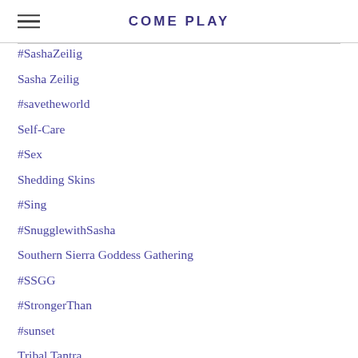COME PLAY
#SashaZeilig
Sasha Zeilig
#savetheworld
Self-Care
#Sex
Shedding Skins
#Sing
#SnugglewithSasha
Southern Sierra Goddess Gathering
#SSGG
#StrongerThan
#sunset
Tribal Tantra
#TruthorDare
Truth Or Dare
Truth Or Dare LIVE
#TruthorDareonline
Tulsa